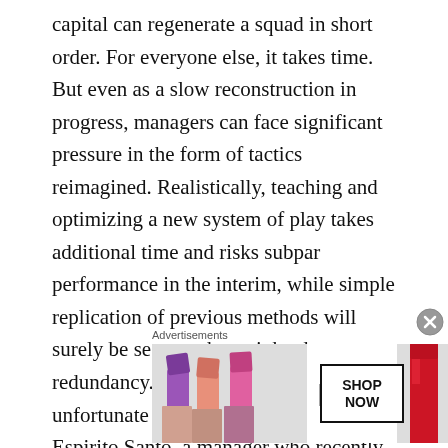capital can regenerate a squad in short order. For everyone else, it takes time. But even as a slow reconstruction in progress, managers can face significant pressure in the form of tactics reimagined. Realistically, teaching and optimizing a new system of play takes additional time and risks subpar performance in the interim, while simple replication of previous methods will surely be seen as short-sighted redundancy. Into this predictable but unfortunate conundrum stepped Nuno Espirito Santo, a manager who recently traded Wolves' black and yellow for Spurs' white and blue.
For context, a significant portion of Spurs supporters' pre-appointment criticism of Nuno (brand recognition
[Figure (other): MAC cosmetics advertisement banner showing lipsticks, MAC logo, and SHOP NOW button]